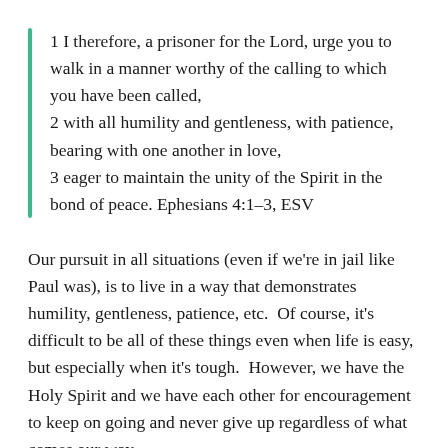1 I therefore, a prisoner for the Lord, urge you to walk in a manner worthy of the calling to which you have been called, 2 with all humility and gentleness, with patience, bearing with one another in love, 3 eager to maintain the unity of the Spirit in the bond of peace. Ephesians 4:1–3, ESV
Our pursuit in all situations (even if we're in jail like Paul was), is to live in a way that demonstrates humility, gentleness, patience, etc.  Of course, it's difficult to be all of these things even when life is easy, but especially when it's tough.  However, we have the Holy Spirit and we have each other for encouragement to keep on going and never give up regardless of what comes our way.